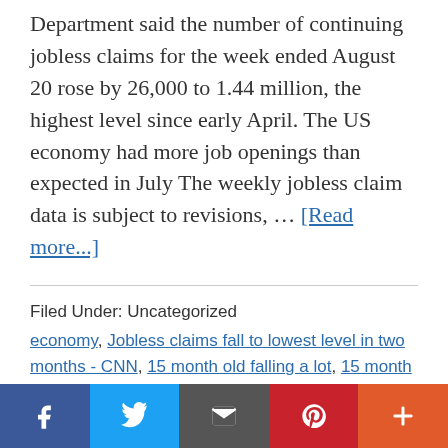Department said the number of continuing jobless claims for the week ended August 20 rose by 26,000 to 1.44 million, the highest level since early April. The US economy had more job openings than expected in July The weekly jobless claim data is subject to revisions, … [Read more...]
Filed Under: Uncategorized
economy, Jobless claims fall to lowest level in two months - CNN, 15 month old falling a lot, 15 month old keeps falling over, 15 month olds toenails falling off, 16 month old falls a lot, 16 month old keeps falling over, 16 month old takes an hour to fall asleep, weekly jobless
[Figure (infographic): Social sharing bar with Facebook, Twitter, Email, Pinterest, and More buttons]